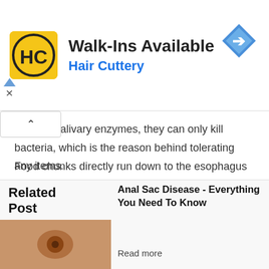[Figure (other): Hair Cuttery advertisement banner with yellow HC logo, 'Walk-Ins Available' heading, blue 'Hair Cuttery' subtext, blue diamond navigation icon, and ad indicator arrows]
of dog's salivary enzymes, they can only kill bacteria, which is the reason behind tolerating any items.
Food chunks directly run down to the esophagus and then enters the dog's stomach. The digestion of food mostly takes place in the stomach. The acid present in the canine stomach is more stronger and in larger volumes per part when compared to that in humans. Because of this, dogs can digest intact and chunked food much more easily than humans.
Related Post
[Figure (photo): Close-up photo of a dog's skin showing an anal sac]
Anal Sac Disease - Everything You Need To Know
Read more